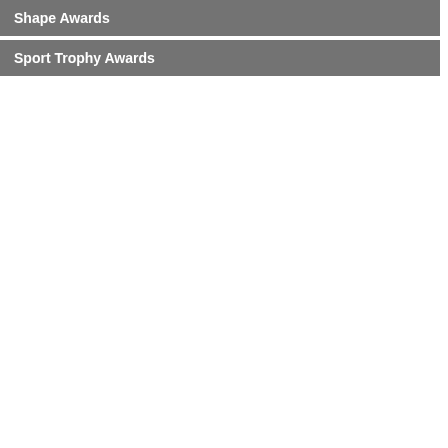Shape Awards
Sport Trophy Awards
[Figure (photo): Crystal award with arch shape engraved with 'Path of Leadership' and 'William Miller', dark background]
| Prod # | Description |
| --- | --- |
| VACFS-1008 | 5-3/4 x 3-1/8 x 1-1/8 |
Words of Cong...
Production lea...
Share this Awa...
[Figure (photo): The Arch crystal award showing 3D laser engraving of a basketball player and apple logo, dark background]
The Arch
The Arch is a b... your custom g... suited for our a...
Production lea...
Share this Awa...
| Prod # | Description |
| --- | --- |
| VACFS-1008-3D | 5-3/4 x 3-1/8 x 1-1/8 |